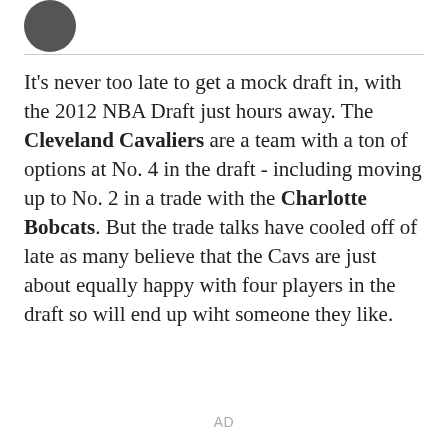[Figure (logo): Circular logo icon (dark gray/black circle) in top left corner]
It's never too late to get a mock draft in, with the 2012 NBA Draft just hours away. The Cleveland Cavaliers are a team with a ton of options at No. 4 in the draft - including moving up to No. 2 in a trade with the Charlotte Bobcats. But the trade talks have cooled off of late as many believe that the Cavs are just about equally happy with four players in the draft so will end up wiht someone they like.
AD